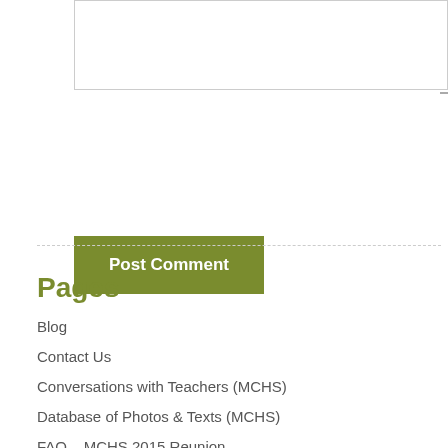[Figure (screenshot): A textarea input box with a resize handle in the bottom-right corner]
Post Comment
Pages
Blog
Contact Us
Conversations with Teachers (MCHS)
Database of Photos & Texts (MCHS)
FAQ – MCHS 2015 Reunion
Grab-Bag for Attendees (MCHS)